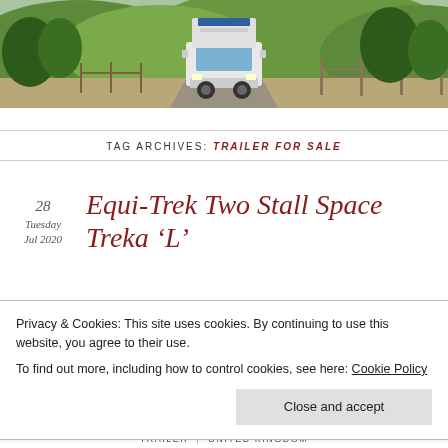[Figure (photo): A large white horse trailer/lorry driving along a rural countryside lane surrounded by green trees and rolling hills, viewed from the front.]
TAG ARCHIVES: TRAILER FOR SALE
28
Tuesday
Jul 2020
Equi-Trek Two Stall Space Treka 'L'
Privacy & Cookies: This site uses cookies. By continuing to use this website, you agree to their use.
To find out more, including how to control cookies, see here: Cookie Policy
Close and accept
TRAILER | UNITED KINGDOM